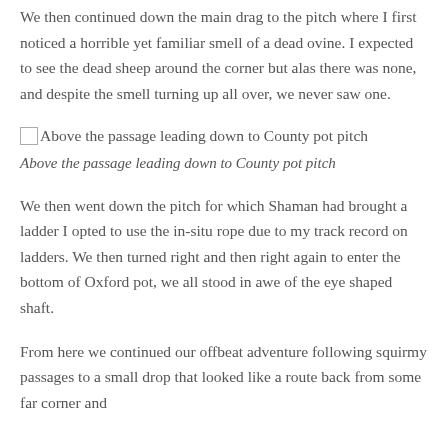We then continued down the main drag to the pitch where I first noticed a horrible yet familiar smell of a dead ovine. I expected to see the dead sheep around the corner but alas there was none, and despite the smell turning up all over, we never saw one.
[Figure (photo): Broken image placeholder with alt text: Above the passage leading down to County pot pitch]
Above the passage leading down to County pot pitch
We then went down the pitch for which Shaman had brought a ladder I opted to use the in-situ rope due to my track record on ladders. We then turned right and then right again to enter the bottom of Oxford pot, we all stood in awe of the eye shaped shaft.
From here we continued our offbeat adventure following squirmy passages to a small drop that looked like a route back from some far corner and